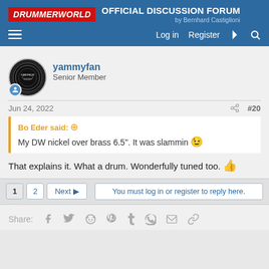DRUMMERWORLD OFFICIAL DISCUSSION FORUM by Bernhard Castiglioni
[Figure (screenshot): Forum thread post from user yammyfan (Senior Member) dated Jun 24, 2022, post #20. Quoting 'Bo Eder said:' - 'My DW nickel over brass 6.5". It was slammin 😉'. Reply: 'That explains it. What a drum. Wonderfully tuned too. 👍'. Pagination: 1, 2, Next. 'You must log in or register to reply here.' Share icons for Facebook, Twitter, Reddit, Pinterest, Tumblr, WhatsApp, Email, Link.]